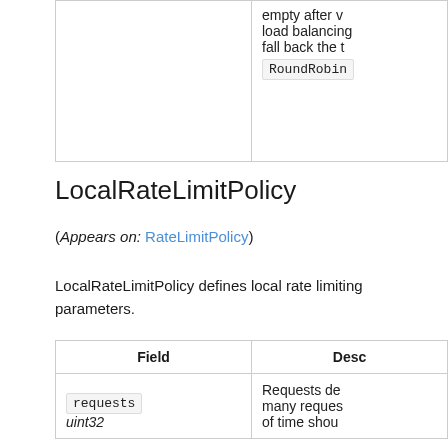| Field | Description |
| --- | --- |
|  | empty after v
load balancing
fall back the t
RoundRobin |
LocalRateLimitPolicy
(Appears on: RateLimitPolicy)
LocalRateLimitPolicy defines local rate limiting parameters.
| Field | Description |
| --- | --- |
| requests
uint32 | Requests de
many reques
of time shou |